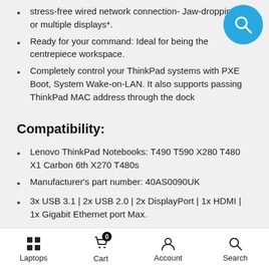stress-free wired network connection- Jaw-dropping 4K or multiple displays*.
Ready for your command: Ideal for being the centrepiece workspace.
Completely control your ThinkPad systems with PXE Boot, System Wake-on-LAN. It also supports passing ThinkPad MAC address through the dock
Compatibility:
Lenovo ThinkPad Notebooks: T490 T590 X280 T480 X1 Carbon 6th X270 T480s
Manufacturer's part number: 40AS0090UK
3x USB 3.1 | 2x USB 2.0 | 2x DisplayPort | 1x HDMI | 1x Gigabit Ethernet port Max.
Output Power: 60W Max.
Laptops  Cart  Account  Search